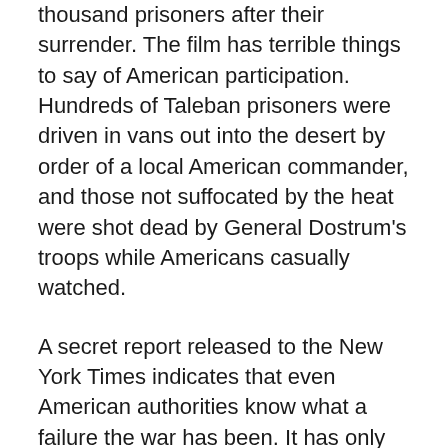thousand prisoners after their surrender. The film has terrible things to say of American participation. Hundreds of Taleban prisoners were driven in vans out into the desert by order of a local American commander, and those not suffocated by the heat were shot dead by General Dostrum's troops while Americans casually watched.
A secret report released to the New York Times indicates that even American authorities know what a failure the war has been. It has only succeeded in dispersing anti-American terrorists throughout the Muslim world.
The actual membership of al Qaeda was always very small, far smaller than any Chicago street gang, and never bore any relation to the addled claims of Mr. Bush. They might have been dealt with handily by a set intelligent policies and diplomatic moves rather than a mindless crusade costing tens of billions of dollars.